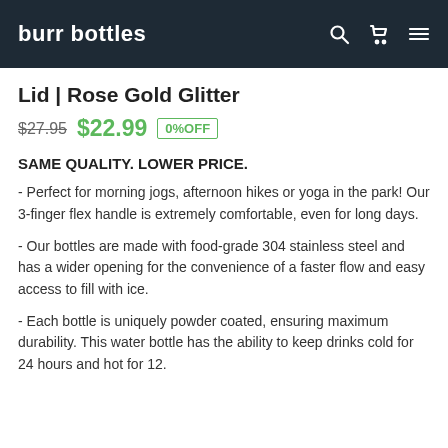burr bottles
Lid | Rose Gold Glitter
$27.95  $22.99  0%OFF
SAME QUALITY. LOWER PRICE.
- Perfect for morning jogs, afternoon hikes or yoga in the park! Our 3-finger flex handle is extremely comfortable, even for long days.
- Our bottles are made with food-grade 304 stainless steel and has a wider opening for the convenience of a faster flow and easy access to fill with ice.
- Each bottle is uniquely powder coated, ensuring maximum durability. This water bottle has the ability to keep drinks cold for 24 hours and hot for 12.